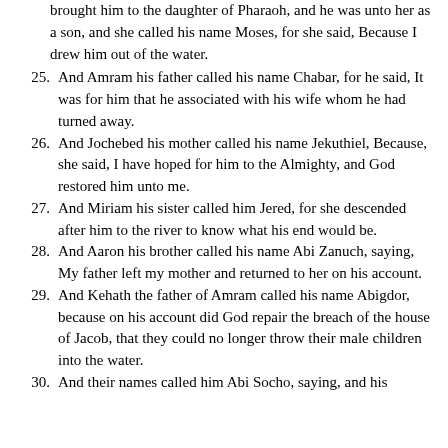brought him to the daughter of Pharaoh, and he was unto her as a son, and she called his name Moses, for she said, Because I drew him out of the water.
25. And Amram his father called his name Chabar, for he said, It was for him that he associated with his wife whom he had turned away.
26. And Jochebed his mother called his name Jekuthiel, Because, she said, I have hoped for him to the Almighty, and God restored him unto me.
27. And Miriam his sister called him Jered, for she descended after him to the river to know what his end would be.
28. And Aaron his brother called his name Abi Zanuch, saying, My father left my mother and returned to her on his account.
29. And Kehath the father of Amram called his name Abigdor, because on his account did God repair the breach of the house of Jacob, that they could no longer throw their male children into the water.
30. And their names called him Abi Socho, saying, and his...